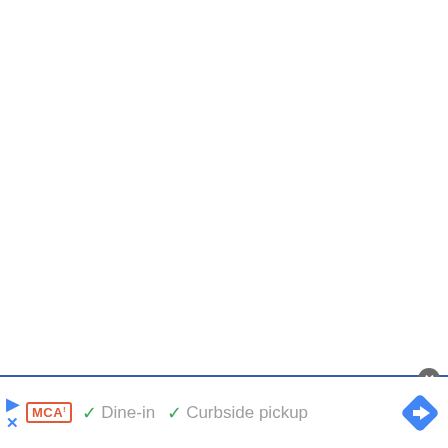[Figure (screenshot): White blank area taking up most of the page, representing a web/app screenshot with empty content area]
✓ Dine-in  ✓ Curbside pickup